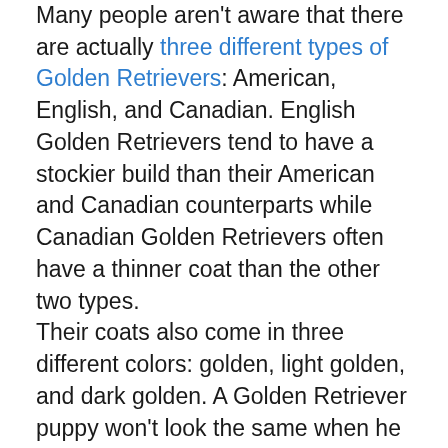Many people aren't aware that there are actually three different types of Golden Retrievers: American, English, and Canadian. English Golden Retrievers tend to have a stockier build than their American and Canadian counterparts while Canadian Golden Retrievers often have a thinner coat than the other two types.

Their coats also come in three different colors: golden, light golden, and dark golden. A Golden Retriever puppy won't look the same when he grows up, his coat will actually darken as he ages. To get an idea of the color his coat will be as an adult, take a look at the tip of his ears.
2. They're the 3rd Most